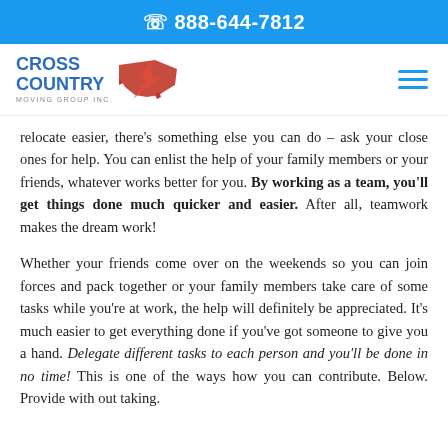📞 888-644-7812
[Figure (logo): Cross Country Moving Group Inc logo with red USA map silhouette and blue text]
relocate easier, there's something else you can do – ask your close ones for help. You can enlist the help of your family members or your friends, whatever works better for you. By working as a team, you'll get things done much quicker and easier. After all, teamwork makes the dream work!
Whether your friends come over on the weekends so you can join forces and pack together or your family members take care of some tasks while you're at work, the help will definitely be appreciated. It's much easier to get everything done if you've got someone to give you a hand. Delegate different tasks to each person and you'll be done in no time! This is one of the ways how you can contribute. Below. Provide with out taking.